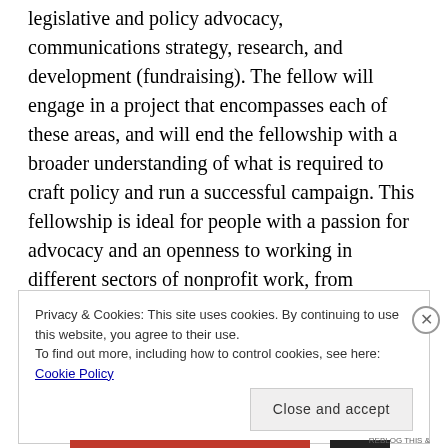legislative and policy advocacy, communications strategy, research, and development (fundraising). The fellow will engage in a project that encompasses each of these areas, and will end the fellowship with a broader understanding of what is required to craft policy and run a successful campaign. This fellowship is ideal for people with a passion for advocacy and an openness to working in different sectors of nonprofit work, from fundraising to policy formulation and communication strategies.
Privacy & Cookies: This site uses cookies. By continuing to use this website, you agree to their use. To find out more, including how to control cookies, see here: Cookie Policy